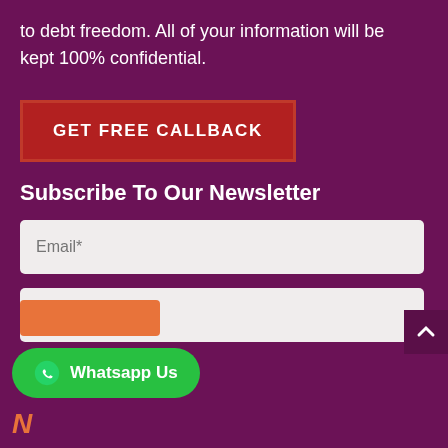to debt freedom. All of your information will be kept 100% confidential.
[Figure (other): GET FREE CALLBACK button in dark red with border]
Subscribe To Our Newsletter
[Figure (other): Email* input field]
[Figure (other): First name* input field]
[Figure (other): Whatsapp Us green floating button with WhatsApp icon]